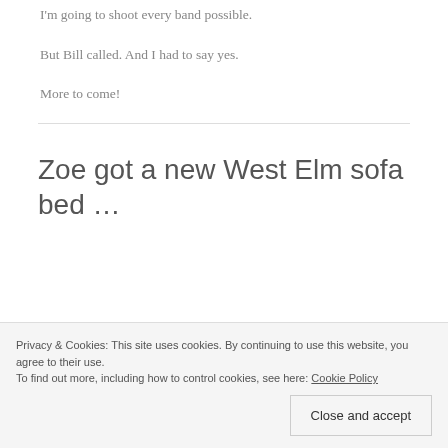I'm going to shoot every band possible.
But Bill called. And I had to say yes.
More to come!
Zoe got a new West Elm sofa bed …
Privacy & Cookies: This site uses cookies. By continuing to use this website, you agree to their use. To find out more, including how to control cookies, see here: Cookie Policy Close and accept